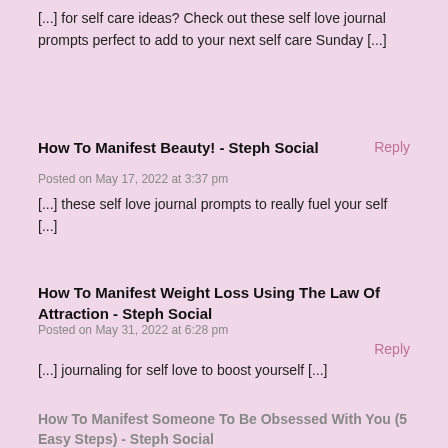[...] for self care ideas? Check out these self love journal prompts perfect to add to your next self care Sunday [...]
How To Manifest Beauty! - Steph Social
Posted on May 17, 2022 at 3:37 pm
[...] these self love journal prompts to really fuel your self [...]
How To Manifest Weight Loss Using The Law Of Attraction - Steph Social
Posted on May 31, 2022 at 6:28 pm
[...] journaling for self love to boost yourself [...]
How To Manifest Someone To Be Obsessed With You (5 Easy Steps) - Steph Social